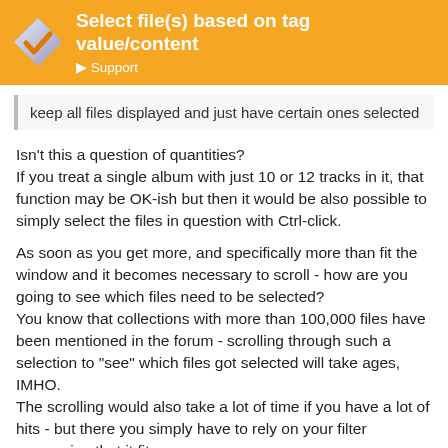Select file(s) based on tag value/content — Support
keep all files displayed and just have certain ones selected
Isn't this a question of quantities?
If you treat a single album with just 10 or 12 tracks in it, that function may be OK-ish but then it would be also possible to simply select the files in question with Ctrl-click.
As soon as you get more, and specifically more than fit the window and it becomes necessary to scroll - how are you going to see which files need to be selected?
You know that collections with more than 100,000 files have been mentioned in the forum - scrolling through such a selection to "see" which files got selected will take ages, IMHO.
The scrolling would also take a lot of time if you have a lot of hits - but there you simply have to rely on your filter expression that it fits.
The limitation of quotation marks could be something like